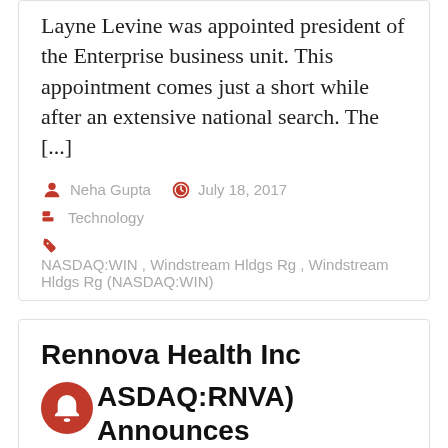Layne Levine was appointed president of the Enterprise business unit. This appointment comes just a short while after an extensive national search. The [...]
Neha Gupta   July 18, 2017   Technology   NASDAQ:WIN , Windstream Hldgs Rg , Windstream Hldgs Rg (NASDAQ:WIN)
Rennova Health Inc (NASDAQ:RNVA) Announces Pact with Certainty Health to